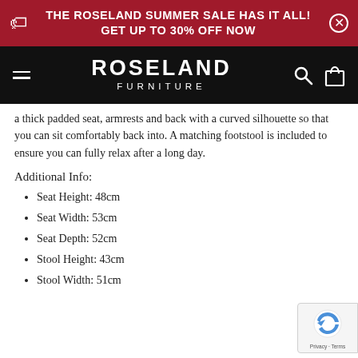THE ROSELAND SUMMER SALE HAS IT ALL! GET UP TO 30% OFF NOW
[Figure (logo): Roseland Furniture logo and navigation bar on black background with hamburger menu, search icon, and shopping bag icon]
a thick padded seat, armrests and back with a curved silhouette so that you can sit comfortably back into. A matching footstool is included to ensure you can fully relax after a long day.
Additional Info:
Seat Height: 48cm
Seat Width: 53cm
Seat Depth: 52cm
Stool Height: 43cm
Stool Width: 51cm